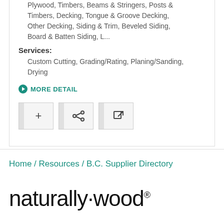Plywood, Timbers, Beams & Stringers, Posts & Timbers, Decking, Tongue & Groove Decking, Other Decking, Siding & Trim, Beveled Siding, Board & Batten Siding, L...
Services:
Custom Cutting, Grading/Rating, Planing/Sanding, Drying
MORE DETAIL
Home / Resources / B.C. Supplier Directory
naturally·wood®